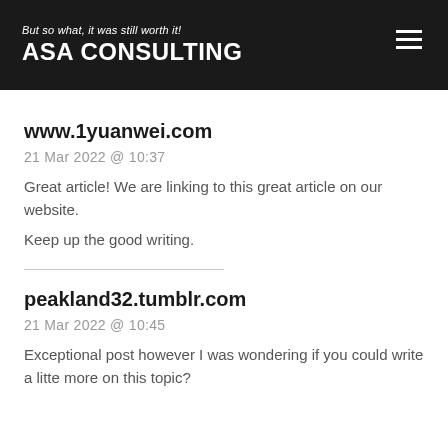But so what, it was still worth it!
ASA CONSULTING
www.1yuanwei.com
21 Mar 2022 @ 10:37
Great article! We are linking to this great article on our website.
Keep up the good writing.
peakland32.tumblr.com
21 Mar 2022 @ 10:45
Exceptional post however I was wondering if you could write a litte more on this topic?